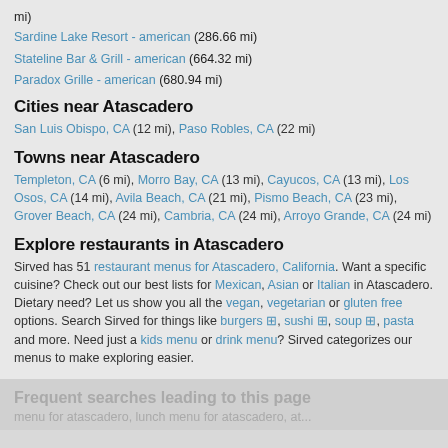mi)
Sardine Lake Resort - american (286.66 mi)
Stateline Bar & Grill - american (664.32 mi)
Paradox Grille - american (680.94 mi)
Cities near Atascadero
San Luis Obispo, CA (12 mi), Paso Robles, CA (22 mi)
Towns near Atascadero
Templeton, CA (6 mi), Morro Bay, CA (13 mi), Cayucos, CA (13 mi), Los Osos, CA (14 mi), Avila Beach, CA (21 mi), Pismo Beach, CA (23 mi), Grover Beach, CA (24 mi), Cambria, CA (24 mi), Arroyo Grande, CA (24 mi)
Explore restaurants in Atascadero
Sirved has 51 restaurant menus for Atascadero, California. Want a specific cuisine? Check out our best lists for Mexican, Asian or Italian in Atascadero. Dietary need? Let us show you all the vegan, vegetarian or gluten free options. Search Sirved for things like burgers ⊞, sushi ⊞, soup ⊞, pasta and more. Need just a kids menu or drink menu? Sirved categorizes our menus to make exploring easier.
Frequent searches leading to this page
menu for atascadero, lunch menu for atascadero, at...